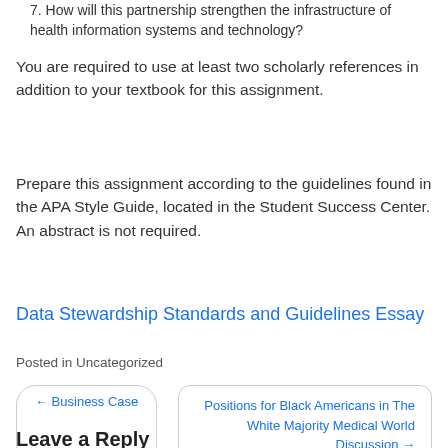7. How will this partnership strengthen the infrastructure of health information systems and technology?
You are required to use at least two scholarly references in addition to your textbook for this assignment.
Prepare this assignment according to the guidelines found in the APA Style Guide, located in the Student Success Center. An abstract is not required.
Data Stewardship Standards and Guidelines Essay
Posted in Uncategorized
← Business Case
Positions for Black Americans in The White Majority Medical World Discussion →
Leave a Reply